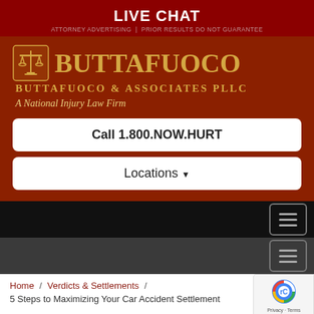LIVE CHAT
[Figure (logo): Buttafuoco & Associates PLLC logo — scales of justice icon, large gold text BUTTAFUOCO, subtitle BUTTAFUOCO & ASSOCIATES PLLC, tagline A National Injury Law Firm, on dark red background]
Call 1.800.NOW.HURT
Locations
Home / Verdicts & Settlements / 5 Steps to Maximizing Your Car Accident Settlement
5 Steps to Maximizing Your Car Accident Settlement